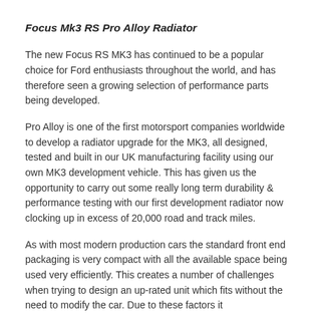Focus Mk3 RS Pro Alloy Radiator
The new Focus RS MK3 has continued to be a popular choice for Ford enthusiasts throughout the world, and has therefore seen a growing selection of performance parts being developed.
Pro Alloy is one of the first motorsport companies worldwide to develop a radiator upgrade for the MK3, all designed, tested and built in our UK manufacturing facility using our own MK3 development vehicle. This has given us the opportunity to carry out some really long term durability & performance testing with our first development radiator now clocking up in excess of 20,000 road and track miles.
As with most modern production cars the standard front end packaging is very compact with all the available space being used very efficiently. This creates a number of challenges when trying to design an up-rated unit which fits without the need to modify the car. Due to these factors it